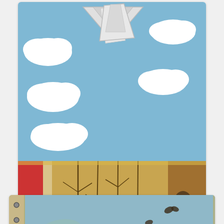[Figure (photo): A handmade pop-up card/book opened to show a sky scene with white paper clouds on blue background and an origami-style pop-up airplane at the top, with a lower section showing owls on branches against a textured brown/olive forest pattern background with red accents]
which had a pop-up inside!
[Figure (photo): A spiral-bound art journal opened to a page featuring mixed media artwork with birds in flight (silhouettes) on a blue-green background with leaf/wing patterns and the word 'Wings' written in large black brush lettering]